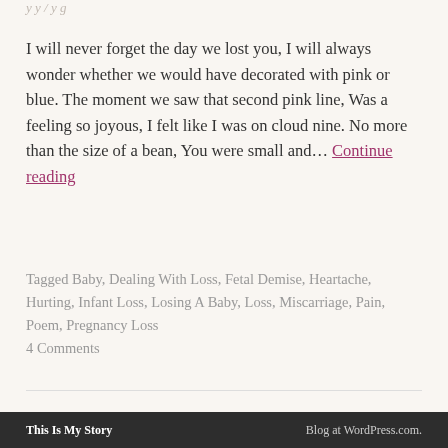I will never forget the day we lost you, I will always wonder whether we would have decorated with pink or blue. The moment we saw that second pink line, Was a feeling so joyous, I felt like I was on cloud nine. No more than the size of a bean, You were small and… Continue reading
Tagged Baby, Dealing With Loss, Fetal Demise, Heartache, Hurting, Infant Loss, Losing A Baby, Loss, Miscarriage, Pain, Poem, Pregnancy Loss
4 Comments
This Is My Story | Blog at WordPress.com.